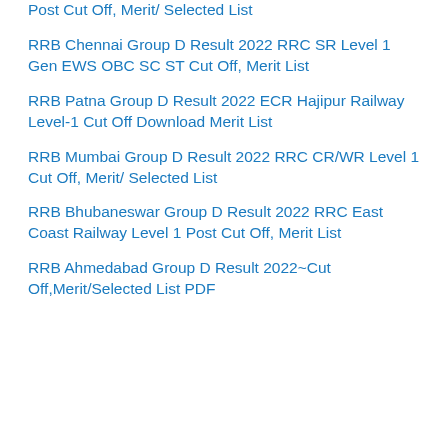Post Cut Off, Merit/ Selected List
RRB Chennai Group D Result 2022 RRC SR Level 1 Gen EWS OBC SC ST Cut Off, Merit List
RRB Patna Group D Result 2022 ECR Hajipur Railway Level-1 Cut Off Download Merit List
RRB Mumbai Group D Result 2022 RRC CR/WR Level 1 Cut Off, Merit/ Selected List
RRB Bhubaneswar Group D Result 2022 RRC East Coast Railway Level 1 Post Cut Off, Merit List
RRB Ahmedabad Group D Result 2022~Cut Off,Merit/Selected List PDF